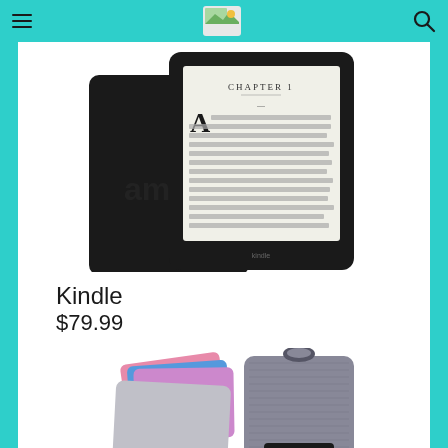[Figure (screenshot): Top navigation bar with hamburger menu icon, logo image, and search icon on teal/cyan background]
[Figure (photo): Amazon Kindle e-reader devices shown from two angles — a black Kindle with screen displaying Chapter 1 text, and the back of another Kindle unit]
Kindle
$79.99
[Figure (photo): Kindle accessories including colorful fabric covers (pink, blue, purple) and a gray protective sleeve/case, plus a Bobj brand carrying case]